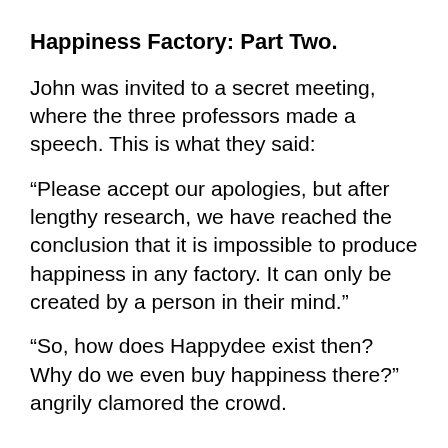Happiness Factory: Part Two.
John was invited to a secret meeting, where the three professors made a speech. This is what they said:
“Please accept our apologies, but after lengthy research, we have reached the conclusion that it is impossible to produce happiness in any factory. It can only be created by a person in their mind.”
“So, how does Happydee exist then? Why do we even buy happiness there?” angrily clamored the crowd.